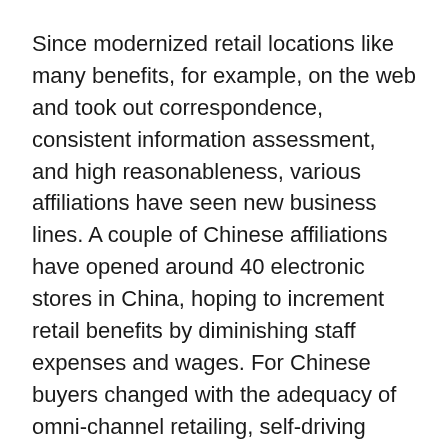Since modernized retail locations like many benefits, for example, on the web and took out correspondence, consistent information assessment, and high reasonableness, various affiliations have seen new business lines. A couple of Chinese affiliations have opened around 40 electronic stores in China, hoping to increment retail benefits by diminishing staff expenses and wages. For Chinese buyers changed with the adequacy of omni-channel retailing, self-driving unplanned things shops are not yet enough reasonable.
There was a sure business case for auto retail: lower work costs, strong information gathering limits, and higher tremendous sensibility. We